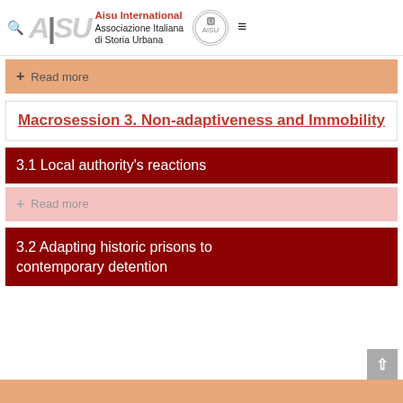Aisu International Associazione Italiana di Storia Urbana
+ Read more
Macrosession 3. Non-adaptiveness and Immobility
3.1 Local authority's reactions
+ Read more
3.2 Adapting historic prisons to contemporary detention